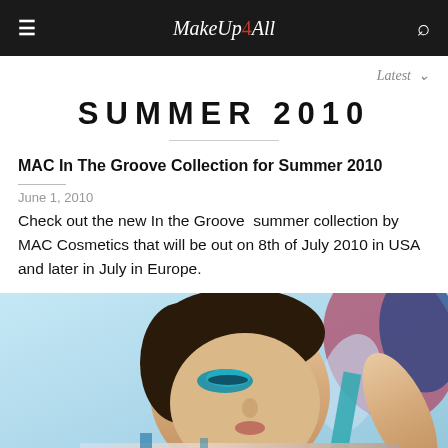MakeUp4All
Latest
SUMMER 2010
MAC In The Groove Collection for Summer 2010
June 1, 2010
Check out the new In the Groove summer collection by MAC Cosmetics that will be out on 8th of July 2010 in USA and later in July in Europe.
[Figure (photo): Woman with blue eye makeup and colorful clothing posed against a light blue background, MAC In The Groove Summer 2010 campaign photo]